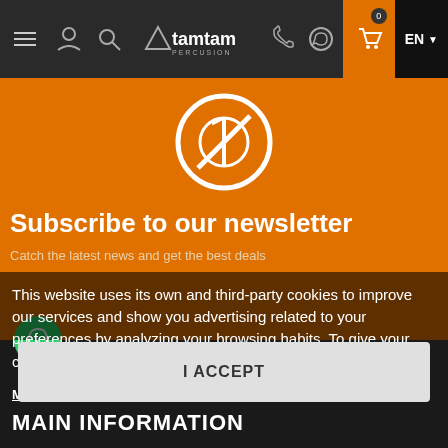Tamtam percussion website navigation bar
[Figure (illustration): White circular no-symbol/empty set icon on orange background, representing empty cart or newsletter]
Subscribe to our newsletter
Catch the latest news and get the best deals
This website uses its own and third-party cookies to improve our services and show you advertising related to your preferences by analyzing your browsing habits. To give your consent to its use, press the Accept button.
More information   customize cookies
I ACCEPT
MAIN INFORMATION